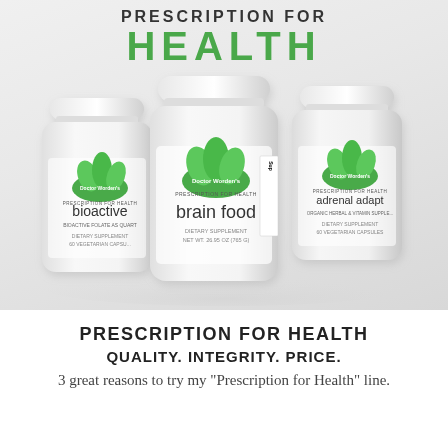PRESCRIPTION FOR HEALTH
[Figure (photo): Three white supplement bottles with green leaf logos: 'bioactive' (left, dietary supplement, 60 vegetarian capsules), 'brain food' (center, dietary supplement, net wt. 26.95 oz / 765g), and 'adrenal adapt' (right, dietary supplement, 60 vegetarian capsules). All bottles branded 'Doctor Worden's Prescription for Health'.]
PRESCRIPTION FOR HEALTH
QUALITY. INTEGRITY. PRICE.
3 great reasons to try my "Prescription for Health" line.